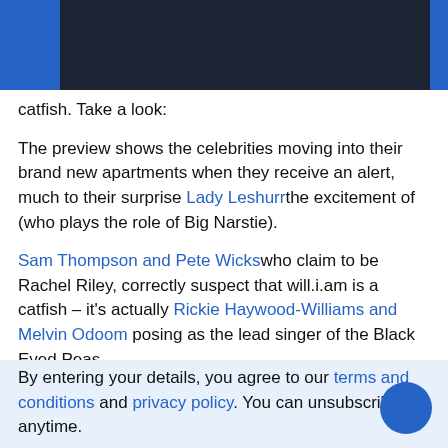[Figure (other): Dark navy header bar with blue accent blocks on left and right sides]
catfish. Take a look:
The preview shows the celebrities moving into their brand new apartments when they receive an alert, much to their surprise Lady Leshurrthe excitement of (who plays the role of Big Narstie).
Sam Thompson and Pete Wickswho claim to be Rachel Riley, correctly suspect that will.i.am is a catfish – it's actually Rickie Haywood-Williams and Melvin Odoom posing as the lead singer of the Black Eyed Peas.
Thompson and Wicks also seem very happy to see their fellow Essex native Denise van Outen on alignment.
By entering your details, you agree to our terms and conditions and privacy policy. You can unsubscribe anytime.